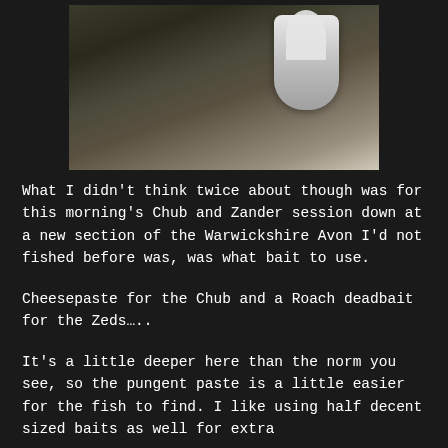[Figure (photo): Outdoor photo showing a translucent white plastic fishing tackle or bait holder on grass/ground near water, with dark rocks or debris visible in the background.]
What I didn't think twice about though was for this morning's Chub and Zander session down at a new section of the Warwickshire Avon I'd not fished before was, was what bait to use.
Cheesepaste for the Chub and a Roach deadbait for the Zeds…..
It's a little deeper here than the norm you see, so the pungent paste is a little easier for the fish to find. I like using half decent sized baits as well for extra